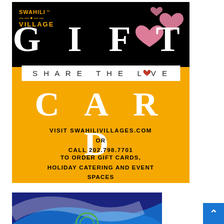[Figure (illustration): Swahili Village Gift Card advertisement. Black and gold/orange background. Shows 'SWAHILI VILLAGE' logo top left, 'GIFT' in large white serif text, pink hearts top right, white banner reading 'SHARE THE LOVE' with heart replacing 'O', 'CARD' in large white serif text, and text: 'VISIT SWAHILIVILLAGES.COM OR CALL 202.798.7701 TO ORDER GIFT CARDS, HOLIDAY CATERING AND EVENT SPACES']
[Figure (photo): Bottom partial image showing blue swoosh/curve design with white space and a partial logo visible at bottom, partially cut off.]